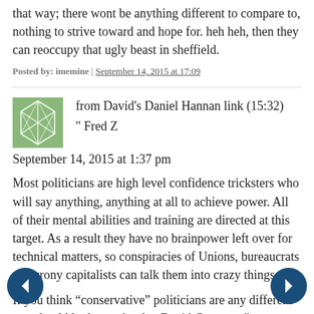that way; there wont be anything different to compare to, nothing to strive toward and hope for. heh heh, then they can reoccupy that ugly beast in sheffield.
Posted by: imemine | September 14, 2015 at 17:09
from David's Daniel Hannan link (15:32)
" Fred Z
September 14, 2015 at 1:37 pm
Most politicians are high level confidence tricksters who will say anything, anything at all to achieve power. All of their mental abilities and training are directed at this target. As a result they have no brainpower left over for technical matters, so conspiracies of Unions, bureaucrats and crony capitalists can talk them into crazy things.
If you think “conservative” politicians are any different you should look very hard at David Cameron."